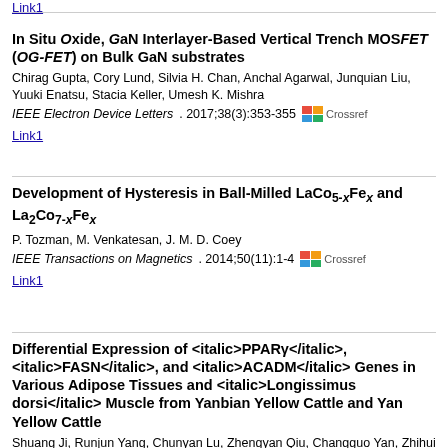Link1
In Situ Oxide, GaN Interlayer-Based Vertical Trench MOSFET (OG-FET) on Bulk GaN substrates
Chirag Gupta, Cory Lund, Silvia H. Chan, Anchal Agarwal, Junquian Liu, Yuuki Enatsu, Stacia Keller, Umesh K. Mishra
IEEE Electron Device Letters. 2017;38(3):353-355
Link1
Development of Hysteresis in Ball-Milled LaCo5-xFex and La2Co7-xFex
P. Tozman, M. Venkatesan, J. M. D. Coey
IEEE Transactions on Magnetics. 2014;50(11):1-4
Link1
Differential Expression of PPARγ, FASN, and ACADM Genes in Various Adipose Tissues and Longissimus dorsi Muscle from Yanbian Yellow Cattle and Yan Yellow Cattle
Shuang Ji, Runjun Yang, Chunyan Lu, Zhengyan Qiu, Changguo Yan, Zhihui Zhao